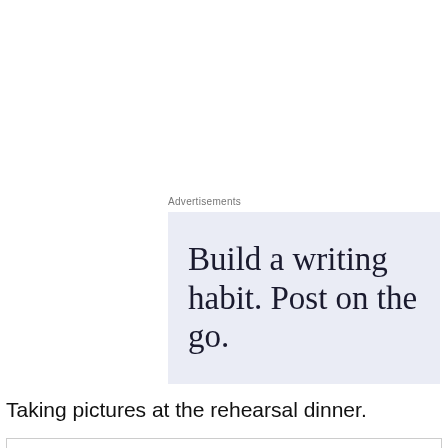Advertisements
[Figure (illustration): Advertisement banner with light blue-gray background showing large serif text: 'Build a writing habit. Post on the go.']
Taking pictures at the rehearsal dinner.
Privacy & Cookies: This site uses cookies. By continuing to use this website, you agree to their use.
To find out more, including how to control cookies, see here: Cookie Policy
Close and accept